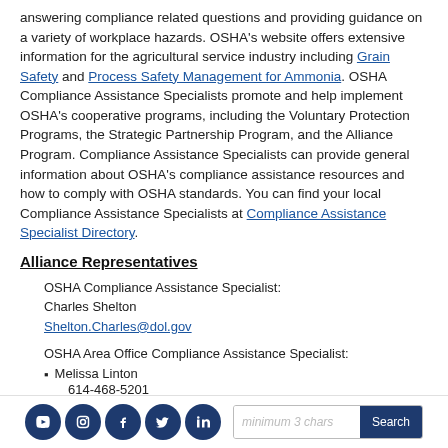answering compliance related questions and providing guidance on a variety of workplace hazards. OSHA's website offers extensive information for the agricultural service industry including Grain Safety and Process Safety Management for Ammonia. OSHA Compliance Assistance Specialists promote and help implement OSHA's cooperative programs, including the Voluntary Protection Programs, the Strategic Partnership Program, and the Alliance Program. Compliance Assistance Specialists can provide general information about OSHA's compliance assistance resources and how to comply with OSHA standards. You can find your local Compliance Assistance Specialists at Compliance Assistance Specialist Directory.
Alliance Representatives
OSHA Compliance Assistance Specialist:
Charles Shelton
Shelton.Charles@dol.gov
OSHA Area Office Compliance Assistance Specialist:
Melissa Linton
614-468-5201
[social icons: YouTube, Instagram, Facebook, Twitter, LinkedIn] [search bar: minimum 3 chars] [Search button]